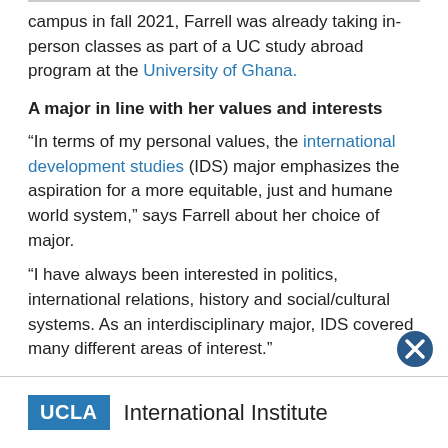campus in fall 2021, Farrell was already taking in-person classes as part of a UC study abroad program at the University of Ghana.
A major in line with her values and interests
“In terms of my personal values, the international development studies (IDS) major emphasizes the aspiration for a more equitable, just and humane world system,” says Farrell about her choice of major.
“I have always been interested in politics, international relations, history and social/cultural systems. As an interdisciplinary major, IDS covered many different areas of interest.”
Among her favorite IDS courses have been “Theory and
UCLA International Institute